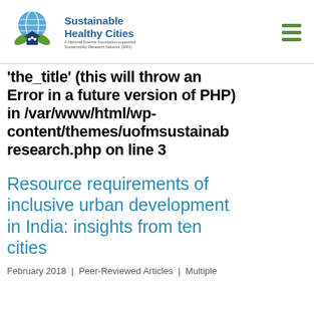Sustainable Healthy Cities — A National Science Foundation-supported Sustainability Research Network (SRN)
'the_title' (this will throw an Error in a future version of PHP) in /var/www/html/wp-content/themes/uofmsustainableresearch.php on line 3
Resource requirements of inclusive urban development in India: insights from ten cities
February 2018  |  Peer-Reviewed Articles  |  Multiple